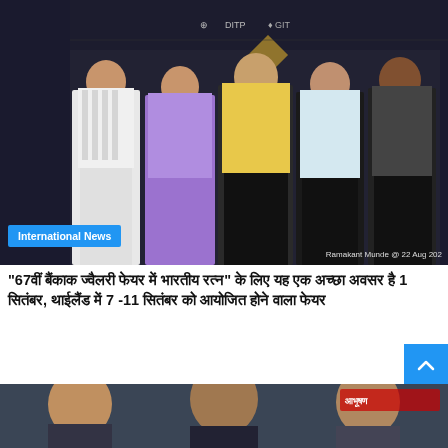[Figure (photo): Group photo of five people standing in front of a dark backdrop with logos including DITP and GIT. Woman in white checkered suit on far left, woman in purple outfit second from left, man in yellow traditional outfit center, man in light blue outfit and man in dark outfit on right.]
International News
“67वीं बैंकाक ज्वैलरी फेयर में भारतीय रत्न” के लिए यह एक अच्छा अवसर है 1 सितंबर, थाईलैंड में 7 -11 सितंबर को आयोजित होने वाला फेयर
August 28, 2022
[Figure (photo): Partial view of three men at the bottom of the page, cropped.]